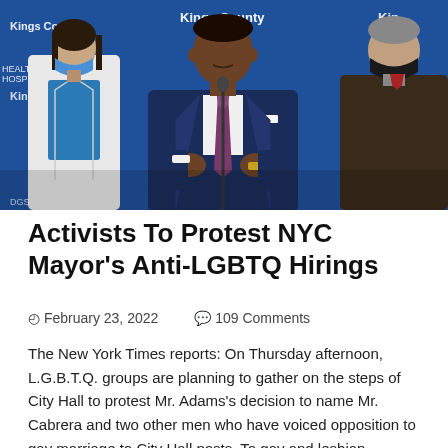[Figure (photo): A man in a navy suit speaking at a podium with a microphone, flanked by two people wearing black masks. Blue background with 'Kings County' and 'NYC Health + Hospitals' signage.]
Activists To Protest NYC Mayor’s Anti-LGBTQ Hirings
February 23, 2022   109 Comments
The New York Times reports: On Thursday afternoon, L.G.B.T.Q. groups are planning to gather on the steps of City Hall to protest Mr. Adams’s decision to name Mr. Cabrera and two other men who have voiced opposition to gay marriage to City Hall posts. To gay and lesbian leaders, the appointments feel like a betrayal. The appointments also highlight another …